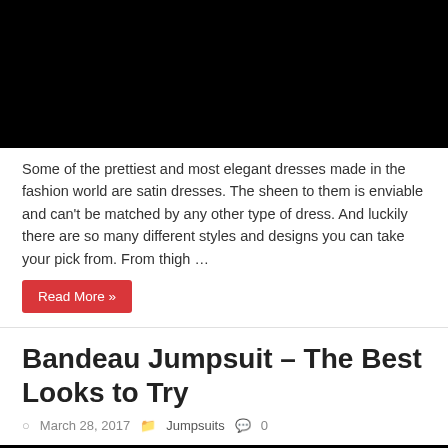[Figure (photo): Black image placeholder at top of article]
Some of the prettiest and most elegant dresses made in the fashion world are satin dresses. The sheen to them is enviable and can't be matched by any other type of dress. And luckily there are so many different styles and designs you can take your pick from. From thigh …
Read More »
Bandeau Jumpsuit – The Best Looks to Try
March 28, 2017   Jumpsuits   0
[Figure (photo): Black image placeholder at bottom, partial view of second article]